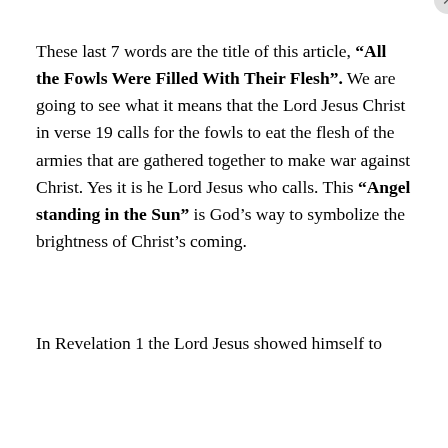These last 7 words are the title of this article, “All the Fowls Were Filled With Their Flesh”. We are going to see what it means that the Lord Jesus Christ in verse 19 calls for the fowls to eat the flesh of the armies that are gathered together to make war against Christ. Yes it is he Lord Jesus who calls. This “Angel standing in the Sun” is God’s way to symbolize the brightness of Christ’s coming.
In Revelation 1 the Lord Jesus showed himself to John in...
Privacy & Cookies: This site uses cookies. By continuing to use this website, you agree to their use.
To find out more, including how to control cookies, see here: Cookie Policy